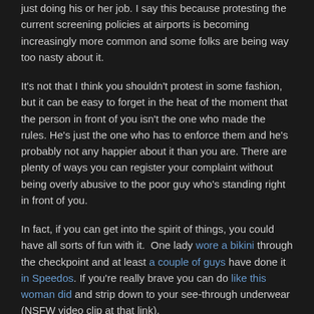just doing his or her job. I say this because protesting the current screening policies at airports is becoming increasingly more common and some folks are being way too nasty about it.

It's not that I think you shouldn't protest in some fashion, but it can be easy to forget in the heat of the moment that the person in front of you isn't the one who made the rules. He's just the one who has to enforce them and he's probably not any happier about it than you are. There are plenty of ways you can register your complaint without being overly abusive to the poor guy who's standing right in front of you.

In fact, if you can get into the spirit of things, you could have all sorts of fun with it. One lady wore a bikini through the checkpoint and at least a couple of guys have done it in Speedos. If you're really brave you can do like this woman did and strip down to your see-through underwear (NSFW video clip at that link).